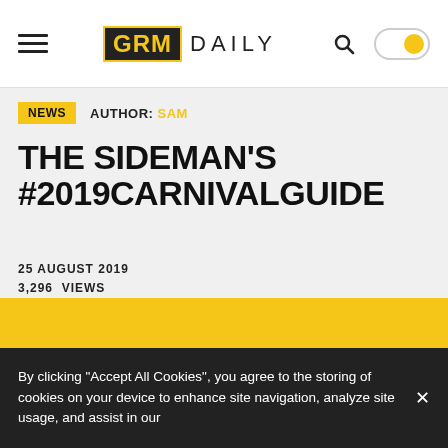GRM DAILY — navigation bar with hamburger menu, logo, search icon, toggle
NEWS  AUTHOR: SAM
THE SIDEMAN'S #2019CARNIVALGUIDE
25 AUGUST 2019
3,296  VIEWS
[Figure (logo): GRM NEWS logo on a yellow background — dark box with GRM in yellow letters and NEWS in white letters]
By clicking "Accept All Cookies", you agree to the storing of cookies on your device to enhance site navigation, analyze site usage, and assist in our